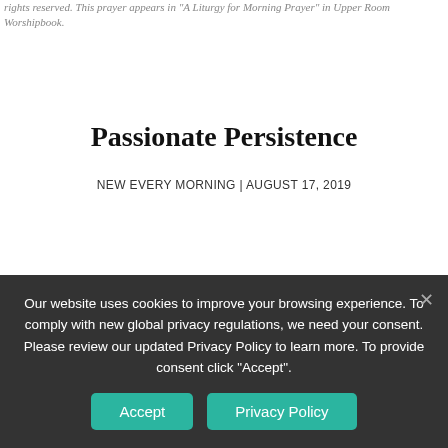rights reserved. This prayer appears in "A Liturgy for Morning Prayer" in Upper Room Worshipbook.
Passionate Persistence
NEW EVERY MORNING | AUGUST 17, 2019
Today's Reflection
NOT QUITE 80, John could have been a poster boy for active older adults. Everyone in his independent living facility admired him. He was strong, intelligent, and full of energy. A retired engineer, he had traveled the world and had a great
Our website uses cookies to improve your browsing experience. To comply with new global privacy regulations, we need your consent. Please review our updated Privacy Policy to learn more. To provide consent click "Accept".